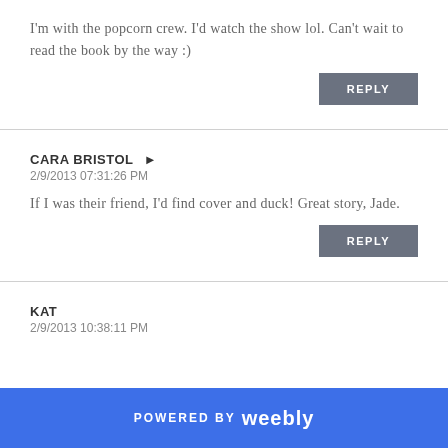I'm with the popcorn crew. I'd watch the show lol. Can't wait to read the book by the way :)
CARA BRISTOL  ➤
2/9/2013 07:31:26 PM
If I was their friend, I'd find cover and duck! Great story, Jade.
KAT
2/9/2013 10:38:11 PM
POWERED BY weebly